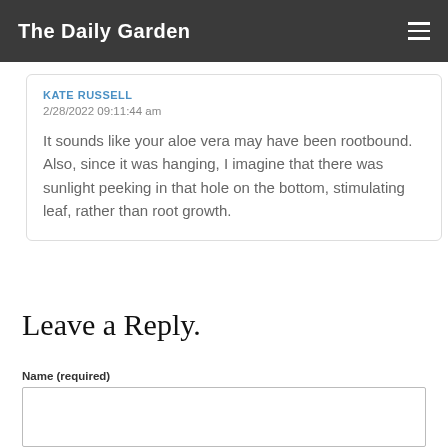The Daily Garden
KATE RUSSELL
2/28/2022 09:11:44 am

It sounds like your aloe vera may have been rootbound. Also, since it was hanging, I imagine that there was sunlight peeking in that hole on the bottom, stimulating leaf, rather than root growth.
Leave a Reply.
Name (required)